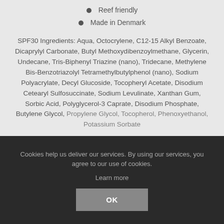Reef friendly
Made in Denmark
SPF30 Ingredients: Aqua, Octocrylene, C12-15 Alkyl Benzoate, Dicaprylyl Carbonate, Butyl Methoxydibenzoylmethane, Glycerin, Undecane, Tris-Biphenyl Triazine (nano), Tridecane, Methylene Bis-Benzotriazolyl Tetramethylbutylphenol (nano), Sodium Polyacrylate, Decyl Glucoside, Tocopheryl Acetate, Disodium Cetearyl Sulfosuccinate, Sodium Levulinate, Xanthan Gum, Sorbic Acid, Polyglycerol-3 Caprate, Disodium Phosphate, Butylene Glycol, Propylene Glycol, Tocopherol, Phenoxyethanol, Potassium Sorbate
Cookies help us deliver our services. By using our services, you agree to our use of cookies.
Learn more
OK